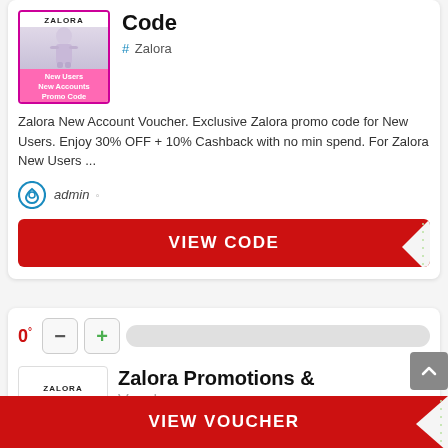[Figure (screenshot): Zalora promo image with New Users New Accounts Promo Code label]
Code
# Zalora
Zalora New Account Voucher. Exclusive Zalora promo code for New Users. Enjoy 30% OFF + 10% Cashback with no min spend. For Zalora New Users ...
admin
VIEW CODE
0°
VIEW VOUCHER
[Figure (screenshot): Zalora promotions & vouchers card with heart logo]
Zalora Promotions &
Vouchers